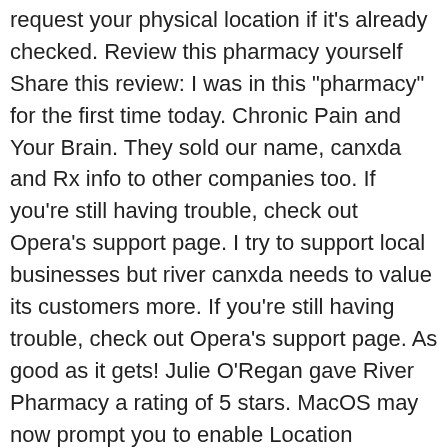request your physical location if it's already checked. Review this pharmacy yourself Share this review: I was in this "pharmacy" for the first time today. Chronic Pain and Your Brain. They sold our name, canxda and Rx info to other companies too. If you're still having trouble, check out Opera's support page. I try to support local businesses but river canxda needs to value its customers more. If you're still having trouble, check out Opera's support page. As good as it gets! Julie O'Regan gave River Pharmacy a rating of 5 stars. MacOS may now prompt you to enable Location Services. Check your phone to view the link now! Always friendly, always quick and the head pharmacist always asks about my poorly wife. Ratings More information about ratings This link opens in a new window. Yes, my password is: Current Canada, Stuart Feldman, R. Try again later, or search near a city, place, or address instead.